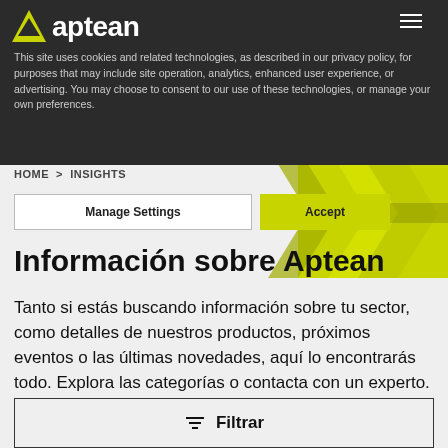aptean
This site uses cookies and related technologies, as described in our privacy policy, for purposes that may include site operation, analytics, enhanced user experience, or advertising. You may choose to consent to our use of these technologies, or manage your own preferences.
HOME > INSIGHTS
Manage Settings
Accept
Información sobre Aptean
Tanto si estás buscando información sobre tu sector, como detalles de nuestros productos, próximos eventos o las últimas novedades, aquí lo encontrarás todo. Explora las categorías o contacta con un experto.
Filtrar